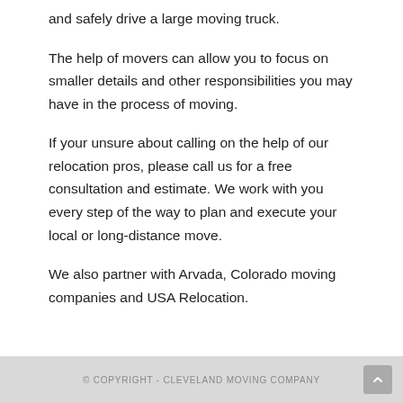and safely drive a large moving truck.
The help of movers can allow you to focus on smaller details and other responsibilities you may have in the process of moving.
If your unsure about calling on the help of our relocation pros, please call us for a free consultation and estimate. We work with you every step of the way to plan and execute your local or long-distance move.
We also partner with Arvada, Colorado moving companies and USA Relocation.
© COPYRIGHT - CLEVELAND MOVING COMPANY